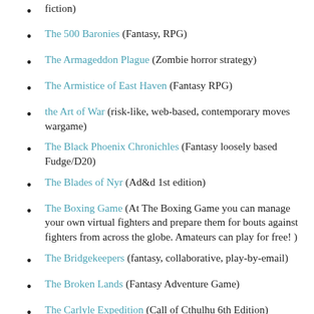fiction)
The 500 Baronies (Fantasy, RPG)
The Armageddon Plague (Zombie horror strategy)
The Armistice of East Haven (Fantasy RPG)
the Art of War (risk-like, web-based, contemporary moves wargame)
The Black Phoenix Chronichles (Fantasy loosely based Fudge/D20)
The Blades of Nyr (Ad&d 1st edition)
The Boxing Game (At The Boxing Game you can manage your own virtual fighters and prepare them for bouts against fighters from across the globe. Amateurs can play for free! )
The Bridgekeepers (fantasy, collaborative, play-by-email)
The Broken Lands (Fantasy Adventure Game)
The Carlyle Expedition (Call of Cthulhu 6th Edition)
The Caves of Doom (ADD 2nd Ed)